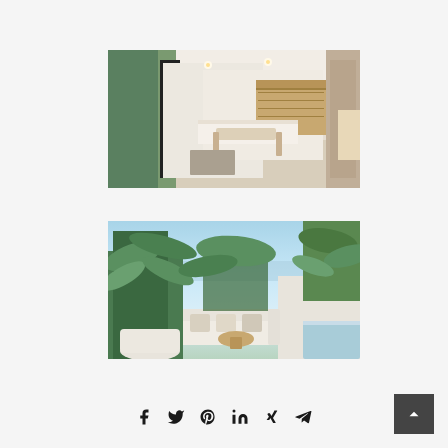[Figure (photo): Interior render of a modern open-plan living and dining room with white walls, wood accents, bar counter, and glass doors opening to a garden terrace]
[Figure (photo): Outdoor rooftop terrace render with tropical plants, white lounge seating, small wooden table, pool edge, and blue sky with sea view in background]
Share icons: Facebook, Twitter, Pinterest, LinkedIn, Xing, Telegram